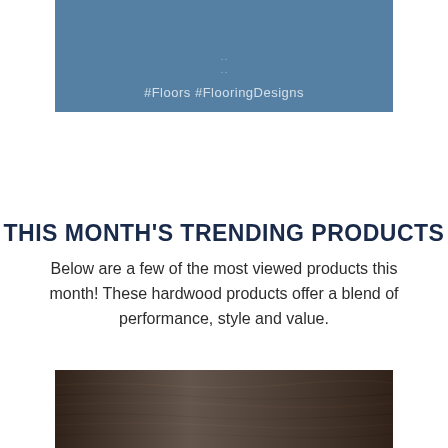[Figure (photo): Blue banner with hashtags #Floors #FlooringDesigns and small dot decorations]
THIS MONTH'S TRENDING PRODUCTS
Below are a few of the most viewed products this month! These hardwood products offer a blend of performance, style and value.
[Figure (photo): Dark brown hardwood flooring texture/sample image]